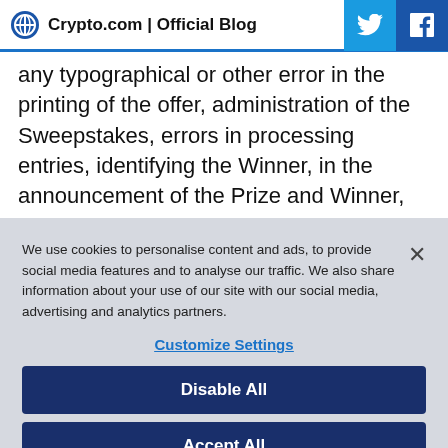Crypto.com | Official Blog
any typographical or other error in the printing of the offer, administration of the Sweepstakes, errors in processing entries, identifying the Winner, in the announcement of the Prize and Winner, the delivery of the Prize, and those who administered from f
We use cookies to personalise content and ads, to provide social media features and to analyse our traffic. We also share information about your use of our site with our social media, advertising and analytics partners.
Customize Settings
Disable All
Accept All